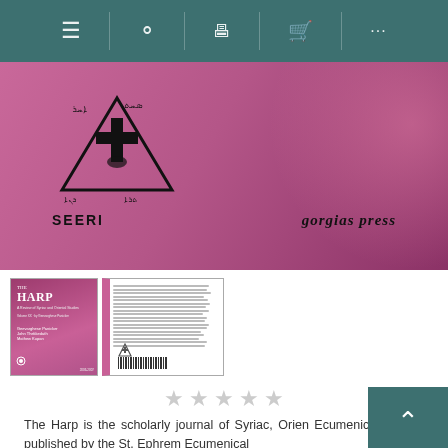[Figure (screenshot): Website navigation bar with menu, search, desktop, cart, and more icons on a teal background]
[Figure (photo): Book cover banner showing SEERI logo and triangle emblem on pink/magenta background with 'gorgias press' text on the right]
[Figure (photo): Two thumbnail images of The Harp journal — front cover (pink with title) and back cover (white with spine)]
[Figure (other): Five empty (gray) star rating icons]
The Harp is the scholarly journal of Syriac, Orien Ecumenical studies published by the St. Ephrem Ecumenical